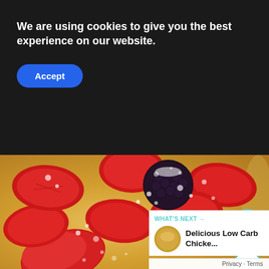We are using cookies to give you the best experience on our website.
Accept
[Figure (photo): Close-up photo of a cheesecake or tart topped with sliced strawberries and a blackberry dusted with powdered sugar, on a golden pastry base.]
1
WHAT'S NEXT → Delicious Low Carb Chicke...
Privacy · Terms